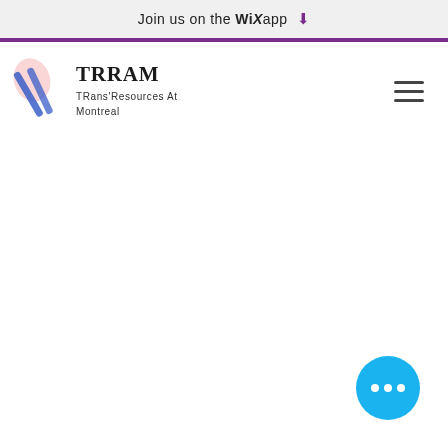Join us on the WiX app ↓
[Figure (logo): TRRAM logo with colorful brushstroke graphic and text 'TRRAM TRans'Resources At Montreal']
[Figure (other): Hamburger menu icon (three horizontal lines)]
[Figure (other): Blue circular floating action button with three white dots]